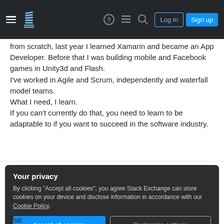Stack Exchange — Log in / Sign up navigation bar
from scratch, last year I learned Xamarin and became an App Developer. Before that I was building mobile and Facebook games in Unity3d and Flash.
I've worked in Agile and Scrum, independently and waterfall model teams.
What I need, I learn.
If you can't currently do that, you need to learn to be adaptable to if you want to succeed in the software industry.
Your privacy
By clicking "Accept all cookies", you agree Stack Exchange can store cookies on your device and disclose information in accordance with our Cookie Policy.
that.